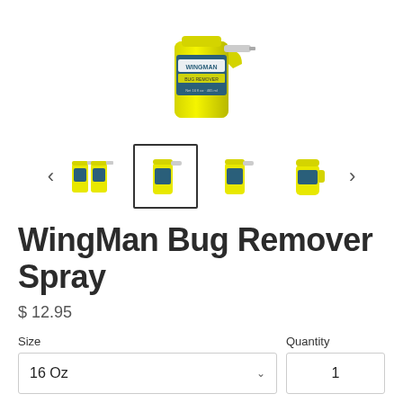[Figure (photo): WingMan Bug Remover spray bottle product image, yellow container with dark teal label]
[Figure (photo): Thumbnail carousel showing 4 product images: two-pack, single spray bottle (selected), single spray bottle, single jug; with left and right navigation arrows]
WingMan Bug Remover Spray
$ 12.95
Size
Quantity
16 Oz
1